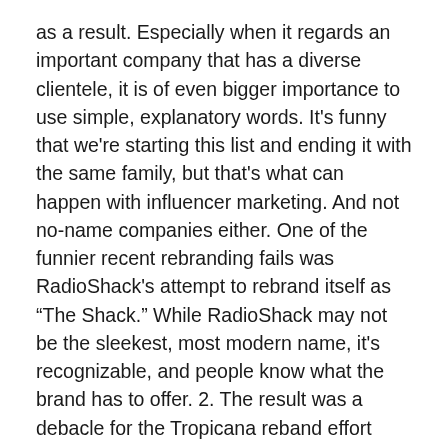as a result. Especially when it regards an important company that has a diverse clientele, it is of even bigger importance to use simple, explanatory words. It's funny that we're starting this list and ending it with the same family, but that's what can happen with influencer marketing. And not no-name companies either. One of the funnier recent rebranding fails was RadioShack's attempt to rebrand itself as “The Shack.” While RadioShack may not be the sleekest, most modern name, it's recognizable, and people know what the brand has to offer. 2. The result was a debacle for the Tropicana reband effort spelled disastrous consequences for farmers and the company. The television network Animal Planet completely changed its logo in 2008. What can we learn from the rebrand failure of Pepsi? Pinterest. Before, the corporate name was prominently placed in the front and center. The new one looks more like a headphone company logo. In 2011 the company decided to move along with a new logo that completely erased the iconic elements, leaving only the written name of the company. During 2008 RadioShack felt the need to change to appear appealing to younger customers. What can we learn